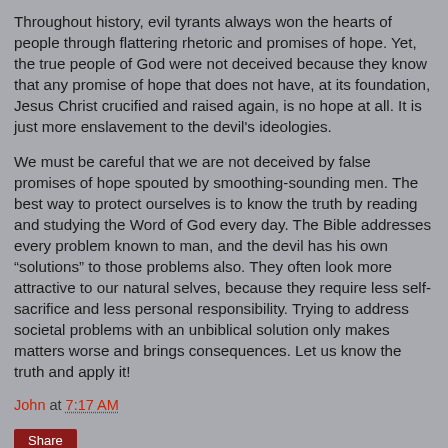Throughout history, evil tyrants always won the hearts of people through flattering rhetoric and promises of hope. Yet, the true people of God were not deceived because they know that any promise of hope that does not have, at its foundation, Jesus Christ crucified and raised again, is no hope at all. It is just more enslavement to the devil's ideologies.
We must be careful that we are not deceived by false promises of hope spouted by smoothing-sounding men. The best way to protect ourselves is to know the truth by reading and studying the Word of God every day. The Bible addresses every problem known to man, and the devil has his own “solutions” to those problems also. They often look more attractive to our natural selves, because they require less self-sacrifice and less personal responsibility. Trying to address societal problems with an unbiblical solution only makes matters worse and brings consequences. Let us know the truth and apply it!
John at 7:17 AM